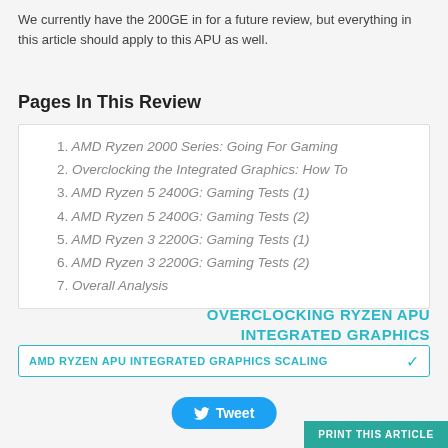We currently have the 200GE in for a future review, but everything in this article should apply to this APU as well.
Pages In This Review
1. AMD Ryzen 2000 Series: Going For Gaming
2. Overclocking the Integrated Graphics: How To
3. AMD Ryzen 5 2400G: Gaming Tests (1)
4. AMD Ryzen 5 2400G: Gaming Tests (2)
5. AMD Ryzen 3 2200G: Gaming Tests (1)
6. AMD Ryzen 3 2200G: Gaming Tests (2)
7. Overall Analysis
OVERCLOCKING RYZEN APU INTEGRATED GRAPHICS
AMD RYZEN APU INTEGRATED GRAPHICS SCALING
Tweet
PRINT THIS ARTICLE